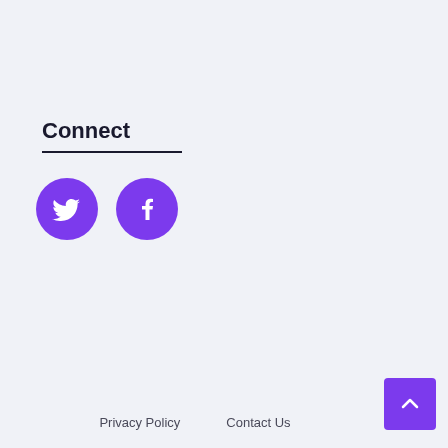Connect
[Figure (illustration): Two purple circular social media icons: Twitter bird icon and Facebook 'f' icon]
Privacy Policy   Contact Us